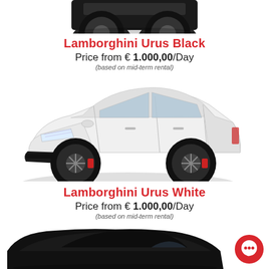[Figure (photo): Partial view of the rear of a black Lamborghini Urus SUV, cropped at top of page]
Lamborghini Urus Black
Price from € 1.000,00/Day
(based on mid-term rental)
[Figure (photo): White Lamborghini Urus SUV, full side profile view on white background]
Lamborghini Urus White
Price from € 1.000,00/Day
(based on mid-term rental)
[Figure (photo): Partial view of a black sports car, cropped at bottom of page]
[Figure (other): Red circular chat/message button icon in bottom right corner]